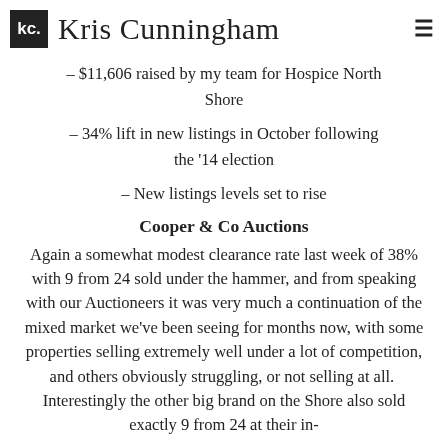[Figure (logo): Kris Cunningham logo with black 'kc.' box and cursive 'Kris Cunningham' text, hamburger menu icon on right]
– $11,606 raised by my team for Hospice North Shore
– 34% lift in new listings in October following the '14 election
– New listings levels set to rise
Cooper & Co Auctions
Again a somewhat modest clearance rate last week of 38% with 9 from 24 sold under the hammer, and from speaking with our Auctioneers it was very much a continuation of the mixed market we've been seeing for months now, with some properties selling extremely well under a lot of competition, and others obviously struggling, or not selling at all.  Interestingly the other big brand on the Shore also sold exactly 9 from 24 at their in-